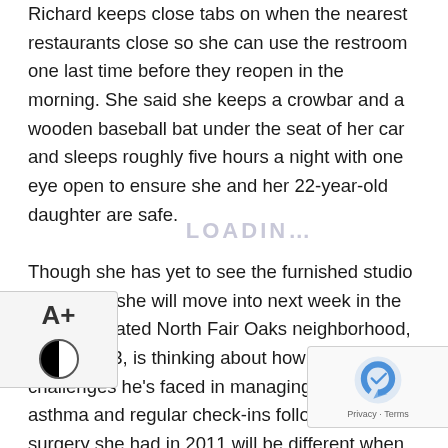Richard keeps close tabs on when the nearest restaurants close so she can use the restroom one last time before they reopen in the morning. She said she keeps a crowbar and a wooden baseball bat under the seat of her car and sleeps roughly five hours a night with one eye open to ensure she and her 22-year-old daughter are safe.

Though she has yet to see the furnished studio apartment she will move into next week in the unincorporated North Fair Oaks neighborhood, Richard, 43, is thinking about how the challenges he's faced in managing diabetes, asthma and regular check-ins following brain surgery she had in 2011 will be different when she's in her new home.